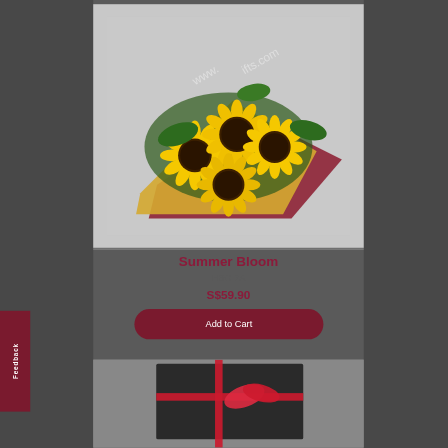[Figure (photo): Sunflower bouquet with yellow sunflowers wrapped in yellow and red paper, displayed against a gray background. A watermark reading 'www...ifts.com' is visible diagonally across the image.]
Summer Bloom
HBG 7A
S$59.90
Add to Cart
[Figure (photo): Bottom portion of a second product showing a dark gift box with a red ribbon, partially visible at the bottom of the page.]
Feedback